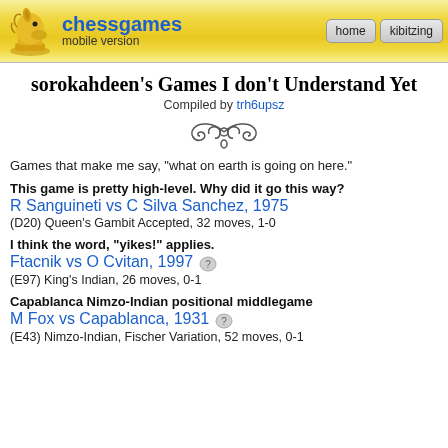chessgames mobile version | home | kibitzing
sorokahdeen's Games I don't Understand Yet
Compiled by trh6upsz
Games that make me say, "what on earth is going on here."
This game is pretty high-level. Why did it go this way?
R Sanguineti vs C Silva Sanchez, 1975
(D20) Queen's Gambit Accepted, 32 moves, 1-0
I think the word, "yikes!" applies.
Ftacnik vs O Cvitan, 1997
(E97) King's Indian, 26 moves, 0-1
Capablanca Nimzo-Indian positional middlegame
M Fox vs Capablanca, 1931
(E43) Nimzo-Indian, Fischer Variation, 52 moves, 0-1